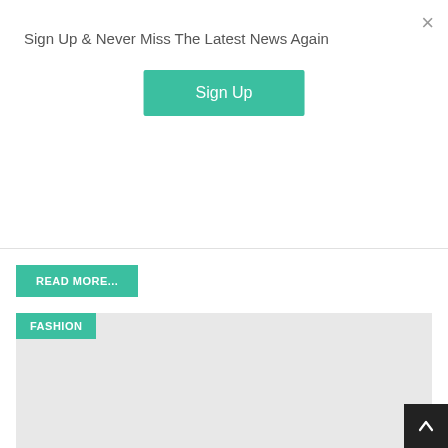Sign Up & Never Miss The Latest News Again
Sign Up
READ MORE...
FASHION
[Figure (other): Large light grey placeholder image area for a fashion article]
×